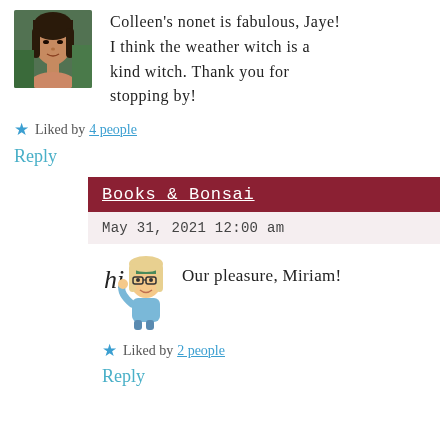[Figure (photo): Avatar photo of a woman with dark hair]
Colleen's nonet is fabulous, Jaye! I think the weather witch is a kind witch. Thank you for stopping by!
Liked by 4 people
Reply
Books & Bonsai
May 31, 2021 12:00 am
[Figure (illustration): Cartoon bitmoji avatar of blonde woman with green headband saying hi]
Our pleasure, Miriam!
Liked by 2 people
Reply